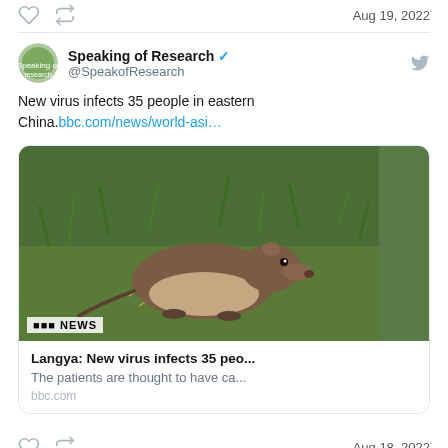[Figure (screenshot): Twitter/social media screenshot showing a tweet by Speaking of Research (@SpeakofResearch) about a new virus infecting 35 people in eastern China, with a BBC News article card showing a shrew/mole animal in grass, dated Aug 18, 2022]
Aug 19, 2022
Speaking of Research @SpeakofResearch
New virus infects 35 people in eastern China.bbc.com/news/world-asi…
[Figure (photo): BBC News article card with photo of a small brown shrew/mole animal in green grass, titled 'Langya: New virus infects 35 peo...' with description 'The patients are thought to have ca...' and source 'bbc.com']
Aug 18, 2022
Embed
View on Twitter
My Tweets